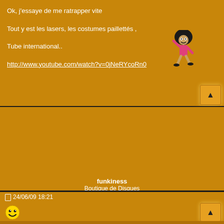Ok, j'essaye de me ratrapper vite
Tout y est les lasers, les costumes paillettés ,
Tube international..
http://www.youtube.com/watch?v=0jNeRYcoRn0
[Figure (illustration): Pixel art dancing figure with afro hair, wearing pink outfit]
funkiness
Boutique de Disques
24/06/09 18:21
[Figure (illustration): Smiley face emoji / emoticon]